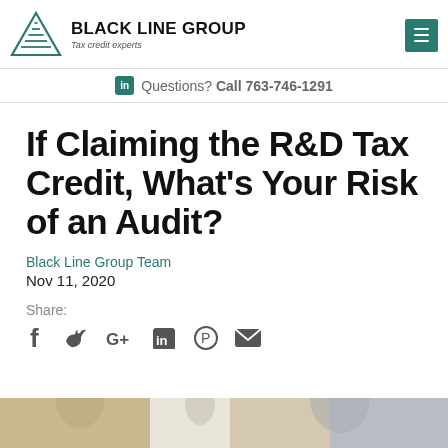BLACK LINE GROUP Tax credit experts | Questions? Call 763-746-1291
If Claiming the R&D Tax Credit, What's Your Risk of an Audit?
Black Line Group Team
Nov 11, 2020
Share:
[Figure (other): Social share icons: Facebook (f), Twitter (bird), Google+ (G+), LinkedIn (in), Pinterest (circle P), Email (envelope)]
[Figure (photo): Partial photo strip at bottom of page showing people in a meeting/office setting]